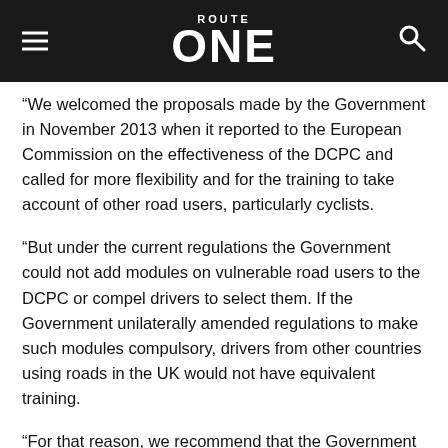ROUTE ONE
“We welcomed the proposals made by the Government in November 2013 when it reported to the European Commission on the effectiveness of the DCPC and called for more flexibility and for the training to take account of other road users, particularly cyclists.
“But under the current regulations the Government could not add modules on vulnerable road users to the DCPC or compel drivers to select them. If the Government unilaterally amended regulations to make such modules compulsory, drivers from other countries using roads in the UK would not have equivalent training.
“For that reason, we recommend that the Government lobby the European Commission to introduce an amending